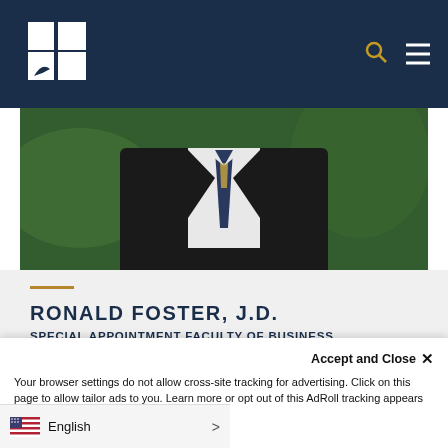University navigation bar with logo, search icon, and menu icon
[Figure (photo): Portrait photo of Ronald Foster in a dark suit with a striped tie, outdoor background]
RONALD FOSTER, J.D.
SPECIAL APPOINTMENT FACULTY OF BUSINESS
VIEW
Accept and Close ×
Your browser settings do not allow cross-site tracking for advertising. Click on this page to allow tailor ads to you. Learn more or opt out of this AdRoll tracking appears once.
English >